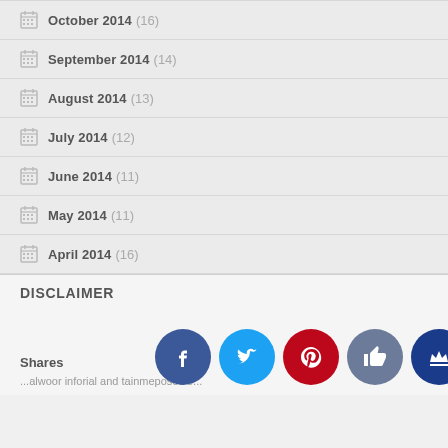October 2014 (16)
September 2014 (14)
August 2014 (13)
July 2014 (12)
June 2014 (11)
May 2014 (11)
April 2014 (16)
DISCLAIMER
Shares
...alwoo... r infor... ial and ...tainme... poses o...